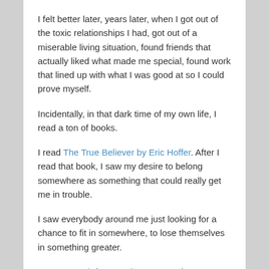I felt better later, years later, when I got out of the toxic relationships I had, got out of a miserable living situation, found friends that actually liked what made me special, found work that lined up with what I was good at so I could prove myself.
Incidentally, in that dark time of my own life, I read a ton of books.
I read The True Believer by Eric Hoffer. After I read that book, I saw my desire to belong somewhere as something that could really get me in trouble.
I saw everybody around me just looking for a chance to fit in somewhere, to lose themselves in something greater.
Man's Search for Meaning was another great book I read during that time. I remember feeling like we all need a purpose. A mission, so to speak, and if we have that, and we really believe that, then we can overcome hardship. It